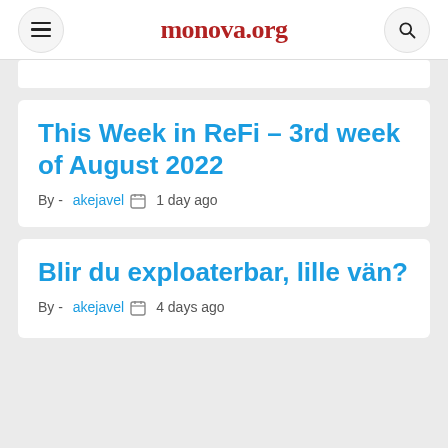monova.org
This Week in ReFi – 3rd week of August 2022
By - akejavel   1 day ago
Blir du exploaterbar, lille vän?
By - akejavel   4 days ago